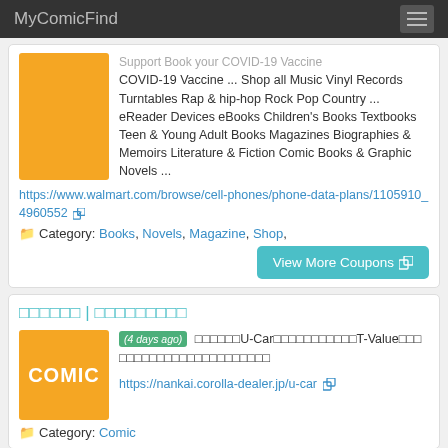MyComicFind
Support Book your COVID-19 Vaccine COVID-19 Vaccine ... Shop all Music Vinyl Records Turntables Rap & hip-hop Rock Pop Country ... eReader Devices eBooks Children's Books Textbooks Teen & Young Adult Books Magazines Biographies & Memoirs Literature & Fiction Comic Books & Graphic Novels ...
https://www.walmart.com/browse/cell-phones/phone-data-plans/1105910_4960552
Category: Books, Novels, Magazine, Shop,
View More Coupons
ウォルマート | ウォルマートジャパン
(4 days ago) ウォルマートU-CarはトヨタのT-Valueに基づくウォルマート認定の中古車をご提供しています
https://nankai.corolla-dealer.jp/u-car
Category: Comic